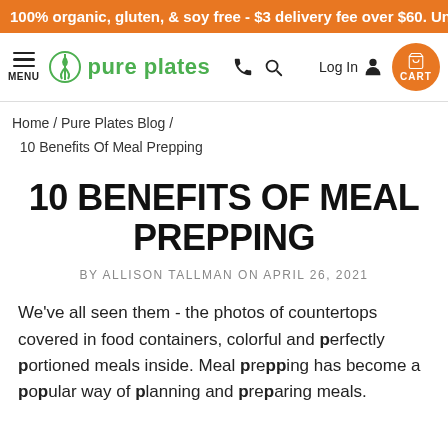100% organic, gluten, & soy free - $3 delivery fee over $60. Under $
[Figure (logo): Pure Plates logo with navigation bar including menu, phone, search, log in, and cart icons]
Home / Pure Plates Blog / 10 Benefits Of Meal Prepping
10 BENEFITS OF MEAL PREPPING
BY ALLISON TALLMAN ON APRIL 26, 2021
We've all seen them - the photos of countertops covered in food containers, colorful and perfectly portioned meals inside. Meal prepping has become a popular way of planning and preparing meals.